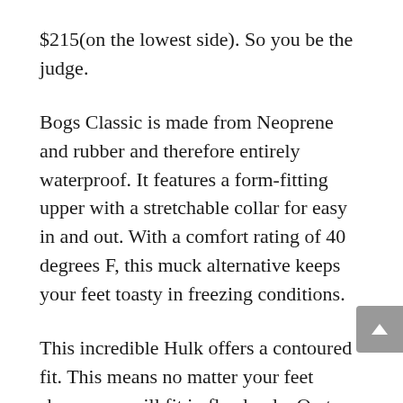$215(on the lowest side). So you be the judge.
Bogs Classic is made from Neoprene and rubber and therefore entirely waterproof. It features a form-fitting upper with a stretchable collar for easy in and out. With a comfort rating of 40 degrees F, this muck alternative keeps your feet toasty in freezing conditions.
This incredible Hulk offers a contoured fit. This means no matter your feet shape, you will fit in flawlessly. On top of that, it comes with a non-marking rubber outsole with self-cleaning ability. This means less after-work cleaning.